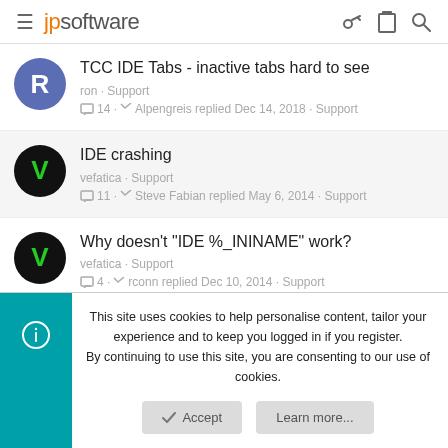jpsoftware
TCC IDE Tabs - inactive tabs hard to see
ron · Support
14 · Alpengreis replied Dec 14, 2018 · Support
IDE crashing
vefatica · Support
11 · Steve Fabian replied May 6, 2014 · Support
Why doesn't "IDE %_ININAME" work?
vefatica · Support
4 · rconn replied Dec 10, 2014 · Support
This site uses cookies to help personalise content, tailor your experience and to keep you logged in if you register.
By continuing to use this site, you are consenting to our use of cookies.